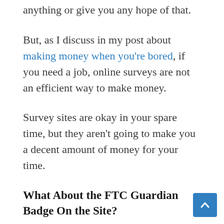And I'm not going to pay you $45 per hour for anything or give you any hope of that.
But, as I discuss in my post about making money when you're bored, if you need a job, online surveys are not an efficient way to make money.
Survey sites are okay in your spare time, but they aren't going to make you a decent amount of money for your time.
What About the FTC Guardian Badge On the Site?